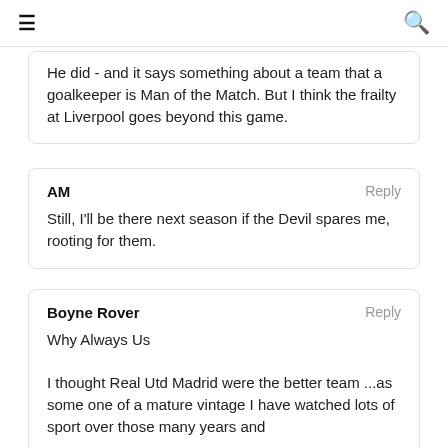≡  🔍
He did - and it says something about a team that a goalkeeper is Man of the Match. But I think the frailty at Liverpool goes beyond this game.
AM
Still, I'll be there next season if the Devil spares me, rooting for them.
Boyne Rover
Why Always Us

I thought Real Utd Madrid were the better team ...as some one of a mature vintage I have watched lots of sport over those many years and